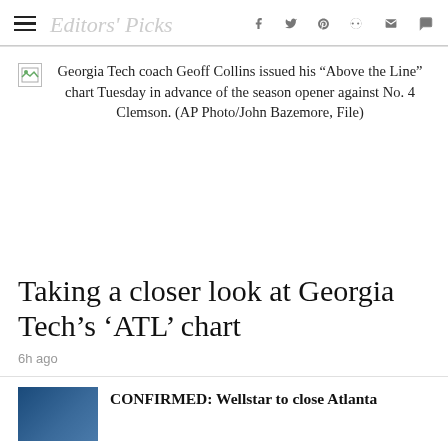Editors' Picks
Georgia Tech coach Geoff Collins issued his “Above the Line” chart Tuesday in advance of the season opener against No. 4 Clemson. (AP Photo/John Bazemore, File)
Taking a closer look at Georgia Tech’s ‘ATL’ chart
6h ago
CONFIRMED: Wellstar to close Atlanta